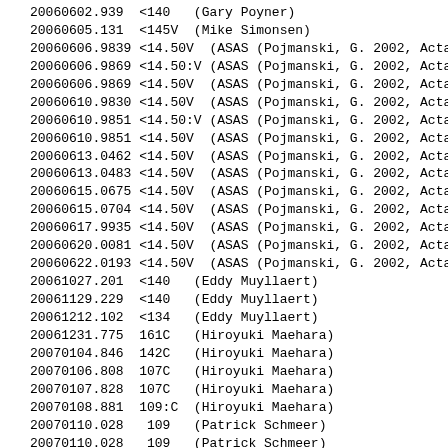20060602.939  <140   (Gary Poyner)
20060605.131  <145V  (Mike Simonsen)
20060606.9839 <14.50V  (ASAS (Pojmanski, G. 2002, Acta
20060606.9869 <14.50:V (ASAS (Pojmanski, G. 2002, Acta
20060606.9869 <14.50V  (ASAS (Pojmanski, G. 2002, Acta
20060610.9830 <14.50V  (ASAS (Pojmanski, G. 2002, Acta
20060610.9851 <14.50:V (ASAS (Pojmanski, G. 2002, Acta
20060610.9851 <14.50V  (ASAS (Pojmanski, G. 2002, Acta
20060613.0462 <14.50V  (ASAS (Pojmanski, G. 2002, Acta
20060613.0483 <14.50V  (ASAS (Pojmanski, G. 2002, Acta
20060615.0675 <14.50V  (ASAS (Pojmanski, G. 2002, Acta
20060615.0704 <14.50V  (ASAS (Pojmanski, G. 2002, Acta
20060617.9935 <14.50V  (ASAS (Pojmanski, G. 2002, Acta
20060620.0081 <14.50V  (ASAS (Pojmanski, G. 2002, Acta
20060622.0193 <14.50V  (ASAS (Pojmanski, G. 2002, Acta
20061027.201  <140   (Eddy Muyllaert)
20061129.229  <140   (Eddy Muyllaert)
20061212.102  <134   (Eddy Muyllaert)
20061231.775  161C   (Hiroyuki Maehara)
20070104.846  142C   (Hiroyuki Maehara)
20070106.808  107C   (Hiroyuki Maehara)
20070107.828  107C   (Hiroyuki Maehara)
20070108.881  109:C  (Hiroyuki Maehara)
20070110.028   109   (Patrick Schmeer)
20070110.028   109   (Patrick Schmeer)
20070110.685  11.07V  (Hiroyuki Maehara)
20070110.688   105   (Yutaka Maeda)
20070110.972   104   (Eddy Muyllaert)
20070111.735   103   (Yutaka Maeda)
20070112.818  11.41V  (Hiroyuki Maehara)